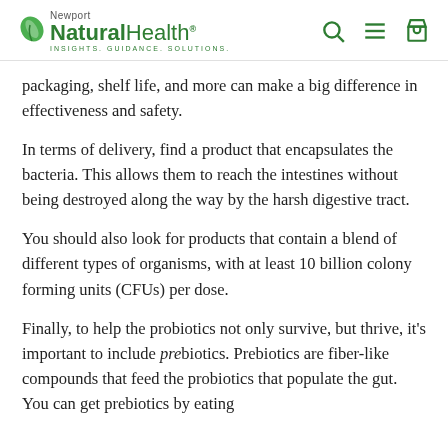Newport NaturalHealth® INSIGHTS. GUIDANCE. SOLUTIONS.
packaging, shelf life, and more can make a big difference in effectiveness and safety.
In terms of delivery, find a product that encapsulates the bacteria. This allows them to reach the intestines without being destroyed along the way by the harsh digestive tract.
You should also look for products that contain a blend of different types of organisms, with at least 10 billion colony forming units (CFUs) per dose.
Finally, to help the probiotics not only survive, but thrive, it's important to include prebiotics. Prebiotics are fiber-like compounds that feed the probiotics that populate the gut. You can get prebiotics by eating